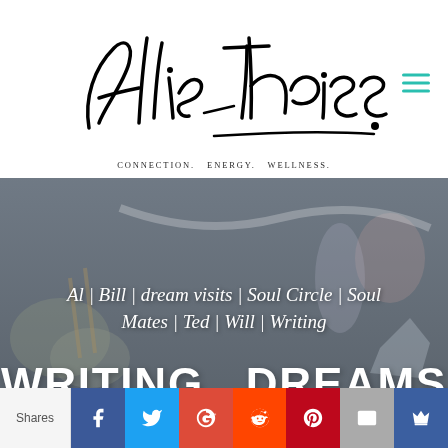[Figure (logo): Allie Theiss script signature logo in black with hamburger menu icon in teal on the right]
CONNECTION. ENERGY. WELLNESS.
[Figure (photo): Dark moody background photo with crystals, candles, small jar with herbs, and flowers, overlaid with navigation text: Al | Bill | dream visits | Soul Circle | Soul Mates | Ted | Will | Writing]
WRITING DREAMS
Shares
[Figure (infographic): Social sharing bar with icons: Facebook (blue), Twitter (light blue), Google+ (red-orange), Reddit (orange-red), Pinterest (dark red), Email (gray), Crown/Sumo (dark blue)]